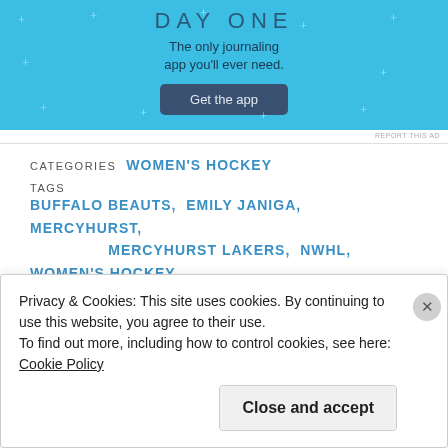[Figure (screenshot): Day One journaling app advertisement banner with light blue background, showing title 'DAY ONE', subtitle 'The only journaling app you'll ever need.', and a dark 'Get the app' button with decorative plus/sparkle signs.]
REPORT THIS AD
CATEGORIES  WOMEN'S HOCKEY
TAGS  BUFFALO BEAUTS, EMILY JANIGA, MERCYHURST, MERCYHURST LAKERS, NWHL, WOMEN'S HOCKEY
Privacy & Cookies: This site uses cookies. By continuing to use this website, you agree to their use.
To find out more, including how to control cookies, see here:
Cookie Policy
Close and accept